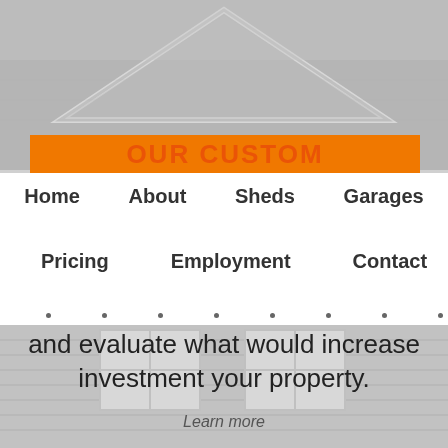[Figure (photo): Grayscale photo of house roof/exterior in background at top]
OUR CUSTOM
Home   About   Sheds   Garages
Pricing   Employment   Contact
and evaluate what would increase investment your property.
Learn more
[Figure (photo): Grayscale photo of house siding with windows at bottom]